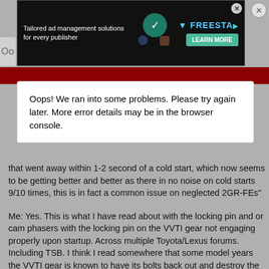[Figure (screenshot): Advertisement banner: 'Tailored ad management solutions for every publisher' with FREESTA logo and LEARN MORE button on dark background]
Oops! We ran into some problems. Please try again later. More error details may be in the browser console.
that went away within 1-2 second of a cold start, which now seems to be getting better and better as there in no noise on cold starts 9/10 times, this is in fact a common issue on neglected 2GR-FEs"
Me: Yes. This is what I have read about with the locking pin and or cam phasers with the locking pin on the VVTI gear not engaging properly upon startup. Across multiple Toyota/Lexus forums. Including TSB. I think I read somewhere that some model years the VVTI gear is known to have its bolts back out and destroy the whole unit with timing chain and adjusters. That particular issue might be the '10 model year. Common issue? Yes. Normal?.. Debatable....
"Or when the maintenance is performed using Dino or bulk dealer oil, someone people have reported with engine flushes